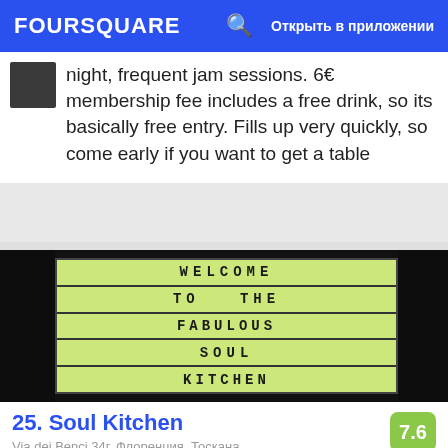FOURSQUARE   Открыть в приложении
night, frequent jam sessions. 6€ membership fee includes a free drink, so its basically free entry. Fills up very quickly, so come early if you want to get a table
[Figure (photo): A light-board sign reading WELCOME TO THE FABULOUS SOUL KITCHEN in black letters on a green/yellow illuminated background]
25. Soul Kitchen
Via dei Benci 34г, Флоренция, Тоскана